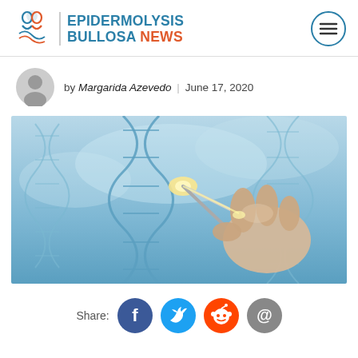EPIDERMOLYSIS BULLOSA NEWS
by Margarida Azevedo | June 17, 2020
[Figure (photo): Scientific illustration of DNA double helix strands in blue tones with a gloved hand holding scissors cutting the DNA strand, representing gene editing/CRISPR technology]
Share: